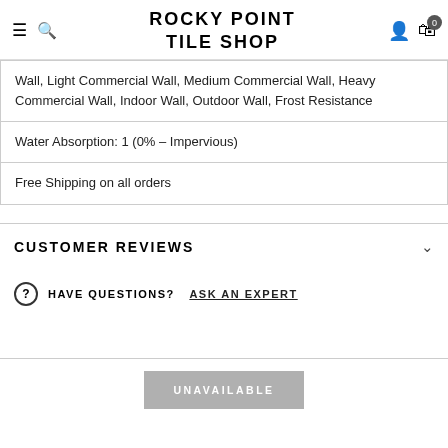ROCKY POINT TILE SHOP
| Wall, Light Commercial Wall, Medium Commercial Wall, Heavy Commercial Wall, Indoor Wall, Outdoor Wall, Frost Resistance |
| Water Absorption: 1 (0% – Impervious) |
| Free Shipping on all orders |
CUSTOMER REVIEWS
HAVE QUESTIONS? ASK AN EXPERT
UNAVAILABLE